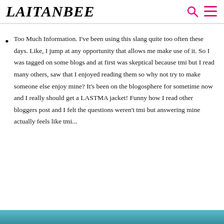LAITANBEE
Too Much Information. I've been using this slang quite too often these days. Like, I jump at any opportunity that allows me make use of it. So I was tagged on some blogs and at first was skeptical because tmi but I read many others, saw that I enjoyed reading them so why not try to make someone else enjoy mine? It's been on the blogosphere for sometime now and I really should get a LASTMA jacket! Funny how I read other bloggers post and I felt the questions weren't tmi but answering mine actually feels like tmi...